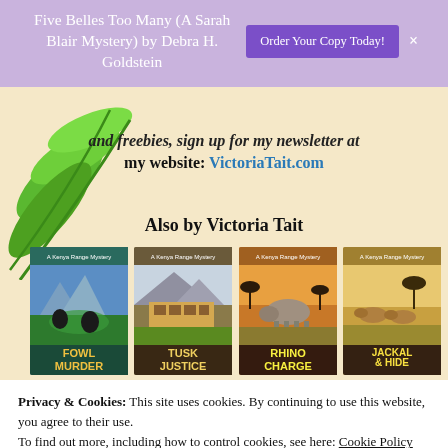Five Belles Too Many (A Sarah Blair Mystery) by Debra H. Goldstein
and freebies, sign up for my newsletter at my website: VictoriaTait.com
Also by Victoria Tait
[Figure (illustration): Four book covers side by side: Fowl Murder, Tusk Justice, Rhino Charge, Jackal & Hide - all Kenya Range Mystery series by Victoria Tait]
Privacy & Cookies: This site uses cookies. By continuing to use this website, you agree to their use.
To find out more, including how to control cookies, see here: Cookie Policy
Close and accept